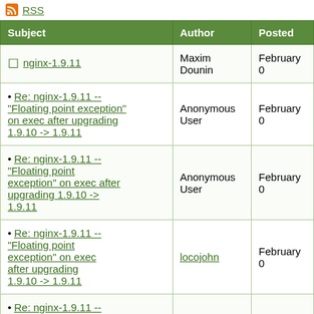RSS
| Subject | Author | Posted |
| --- | --- | --- |
| nginx-1.9.11 | Maxim Dounin | February 0 |
| Re: nginx-1.9.11 -- "Floating point exception" on exec after upgrading 1.9.10 -> 1.9.11 | Anonymous User | February 0 |
| Re: nginx-1.9.11 -- "Floating point exception" on exec after upgrading 1.9.10 -> 1.9.11 | Anonymous User | February 0 |
| Re: nginx-1.9.11 -- "Floating point exception" on exec after upgrading 1.9.10 -> 1.9.11 | locojohn | February 0 |
| Re: nginx-1.9.11 -- "Floating point exception" |  |  |